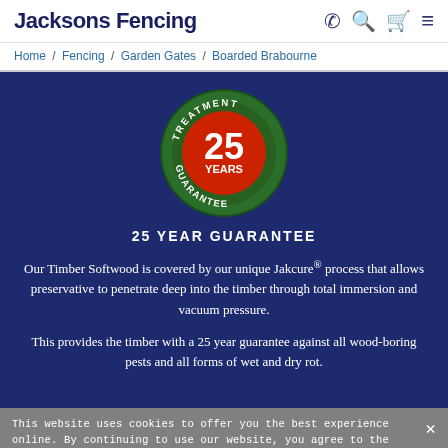Jacksons Fencing
Home / Fencing / Garden Gates / Boarded Brabourne
[Figure (logo): 25 Years Guarantee badge — circular badge with green outer ring reading 'TREATMENT GUARANTEE', red center showing '25 YEARS' in white text]
25 YEAR GUARANTEE
Our Timber Softwood is covered by our unique Jakcure® process that allows preservative to penetrate deep into the timber through total immersion and vacuum pressure.
This provides the timber with a 25 year guarantee against all wood-boring pests and all forms of wet and dry rot.
This website uses cookies to offer you the best experience online. By continuing to use our website, you agree to the use of cookies. If you would like to know more about cookies and how to manage them please view our privacy cookie policy